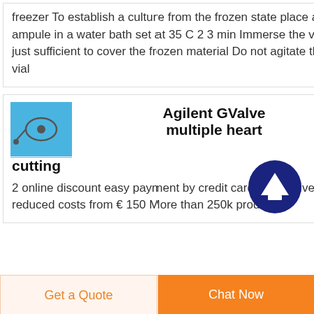freezer To establish a culture from the frozen state place an ampule in a water bath set at 35 C 2 3 min Immerse the vial just sufficient to cover the frozen material Do not agitate the vial
Agilent GValve multiple heart cutting
2 online discount easy payment by credit card Fast delivery reduced costs from € 150 More than 250k products
[Figure (other): Dark navy blue circular button with white upward arrow icon (scroll to top button)]
Get a Quote   Chat Now